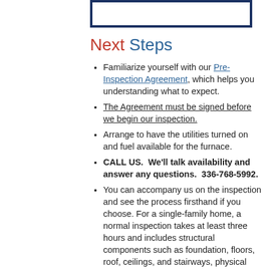[Figure (other): Empty bordered rectangle box at top of page with dark navy blue border]
Next Steps
Familiarize yourself with our Pre-Inspection Agreement, which helps you understanding what to expect.
The Agreement must be signed before we begin our inspection.
Arrange to have the utilities turned on and fuel available for the furnace.
CALL US.  We'll talk availability and answer any questions.  336-768-5992.
You can accompany us on the inspection and see the process firsthand if you choose. For a single-family home, a normal inspection takes at least three hours and includes structural components such as foundation, floors, roof, ceilings, and stairways, physical elements (grounds, driveways, drainage